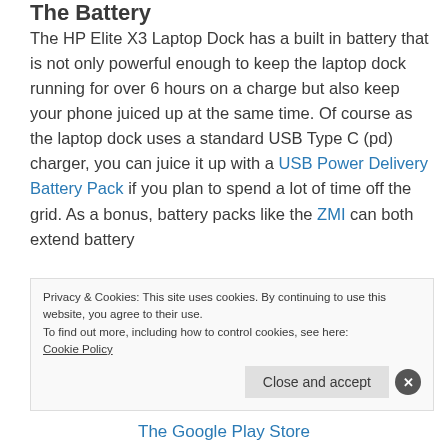The Battery
The HP Elite X3 Laptop Dock has a built in battery that is not only powerful enough to keep the laptop dock running for over 6 hours on a charge but also keep your phone juiced up at the same time. Of course as the laptop dock uses a standard USB Type C (pd) charger, you can juice it up with a USB Power Delivery Battery Pack if you plan to spend a lot of time off the grid. As a bonus, battery packs like the ZMI can both extend battery
Privacy & Cookies: This site uses cookies. By continuing to use this website, you agree to their use.
To find out more, including how to control cookies, see here:
Cookie Policy
T
n
The Google Play Store